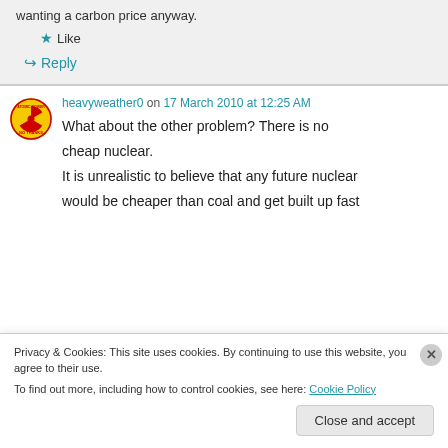wanting a carbon price anyway.
★ Like
↪ Reply
heavyweather0 on 17 March 2010 at 12:25 AM
What about the other problem? There is no cheap nuclear. It is unrealistic to believe that any future nuclear would be cheaper than coal and get built up fast
Privacy & Cookies: This site uses cookies. By continuing to use this website, you agree to their use.
To find out more, including how to control cookies, see here: Cookie Policy
Close and accept